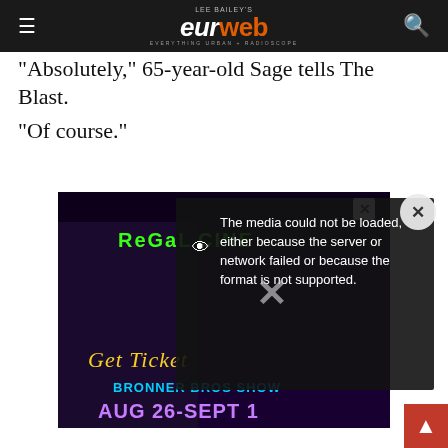Lee Bailey's eurweb — Everything Urban + Radioscope
"Absolutely," 65-year-old Sage tells The Blast. "Of course."
[Figure (screenshot): Advertisement banner for Regal Cinemas showing a movie promotion with 'Get Tickets', 'Bronner Bros Show', 'Aug 26-Sept 1' text overlaid on a dark cinematic image of a woman seated on a car.]
[Figure (screenshot): Media error overlay popup with eye icon and X mark reading: 'The media could not be loaded, either because the server or network failed or because the format is not supported.']